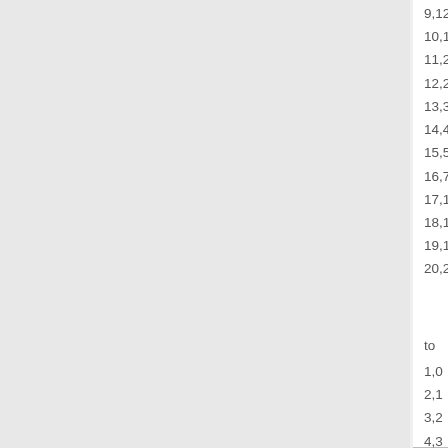9,12000
10,16000
11,20000
12,25000
13,30000
14,40000
15,50000
16,70000
17,100000
18,125000
19,150000
20,200000
to
1,0
2,1
3,2
4,3
5,4
6,5
7,6
8,7
9,8
10,9
11,10
12,11
13,12
14,13
15,14
16,15
17,16
18,17
19,18
20,19